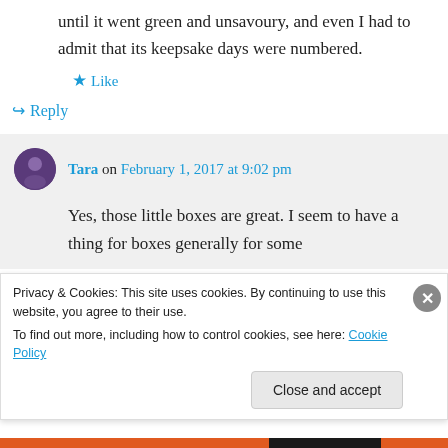until it went green and unsavoury, and even I had to admit that its keepsake days were numbered.
★ Like
↳ Reply
Tara on February 1, 2017 at 9:02 pm
Yes, those little boxes are great. I seem to have a thing for boxes generally for some
Privacy & Cookies: This site uses cookies. By continuing to use this website, you agree to their use. To find out more, including how to control cookies, see here: Cookie Policy
Close and accept